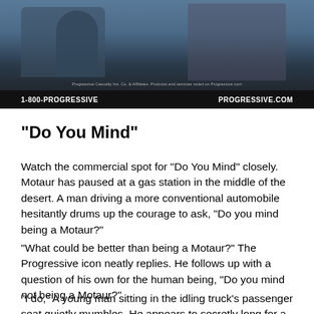[Figure (screenshot): Screenshot of a Progressive insurance TV commercial showing a gas station scene in the desert with the Motaur character. Bottom bar shows '1-800-PROGRESSIVE' and 'PROGRESSIVE.COM' in white text on black background.]
“Do You Mind”
Watch the commercial spot for “Do You Mind” closely. Motaur has paused at a gas station in the middle of the desert. A man driving a more conventional automobile hesitantly drums up the courage to ask, “Do you mind being a Motaur?”
“What could be better than being a Motaur?” The Progressive icon neatly replies. He follows up with a question of his own for the human being, “Do you mind not being a Motaur?”
“I do,” A young man sitting in the idling truck’s passenger seat quietly mumbles. He appears to secretly long for a Motaur